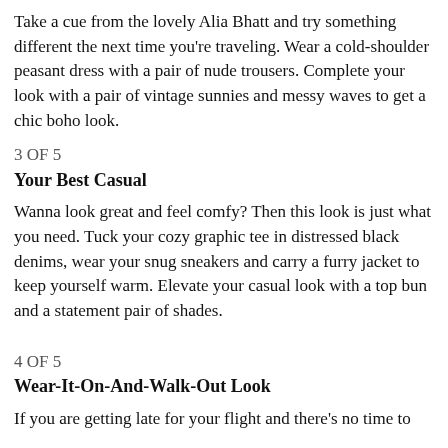Take a cue from the lovely Alia Bhatt and try something different the next time you're traveling. Wear a cold-shoulder peasant dress with a pair of nude trousers. Complete your look with a pair of vintage sunnies and messy waves to get a chic boho look.
3 OF 5
Your Best Casual
Wanna look great and feel comfy? Then this look is just what you need. Tuck your cozy graphic tee in distressed black denims, wear your snug sneakers and carry a furry jacket to keep yourself warm. Elevate your casual look with a top bun and a statement pair of shades.
4 OF 5
Wear-It-On-And-Walk-Out Look
If you are getting late for your flight and there's no time to